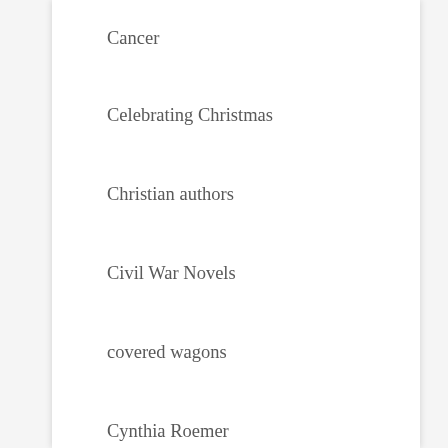Cancer
Celebrating Christmas
Christian authors
Civil War Novels
covered wagons
Cynthia Roemer
Cynthia Roemer's Prairie Sky Series
Encouragement
Encouragement for the Heart
facing challenges
For the Reader
For the Writer